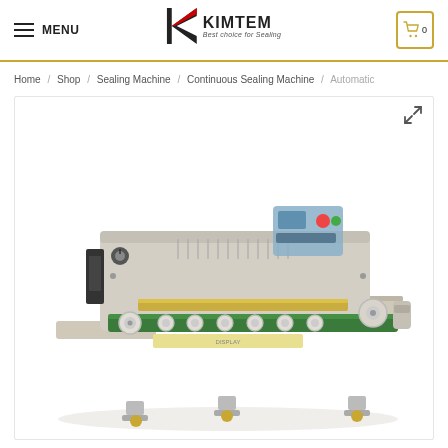MENU | KIMTEM | Cart 0
Home / Shop / Sealing Machine / Continuous Sealing Machine / Automatic
[Figure (photo): Automatic continuous bag sealing machine with green conveyor belt, stainless steel body, control panel with buttons, and rollers. Industrial food/packaging sealing equipment photographed on white background.]